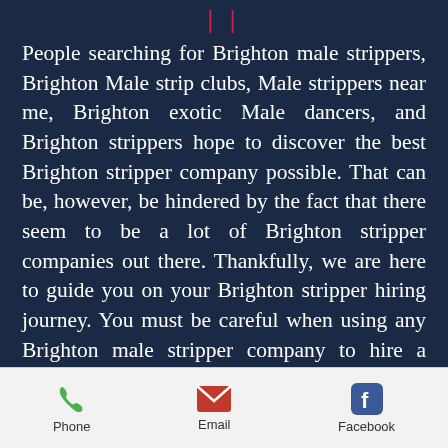People searching for Brighton male strippers, Brighton Male strip clubs, Male strippers near me, Brighton exotic Male dancers, and Brighton strippers hope to discover the best Brighton stripper company possible. That can be, however, be hindered by the fact that there seem to be a lot of Brighton stripper companies out there. Thankfully, we are here to guide you on your Brighton stripper hiring journey. You must be careful when using any Brighton male stripper company to hire a Brighton stripper because you could get a less than sexy
Phone  Email  Facebook